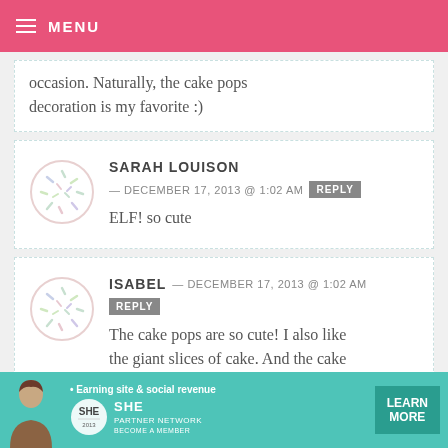MENU
occasion. Naturally, the cake pops decoration is my favorite :)
SARAH LOUISON — DECEMBER 17, 2013 @ 1:02 AM REPLY
ELF! so cute
ISABEL — DECEMBER 17, 2013 @ 1:02 AM REPLY
The cake pops are so cute! I also like the giant slices of cake. And the cake
[Figure (infographic): SHE Partner Network advertisement banner — Earning site & social revenue, LEARN MORE button]